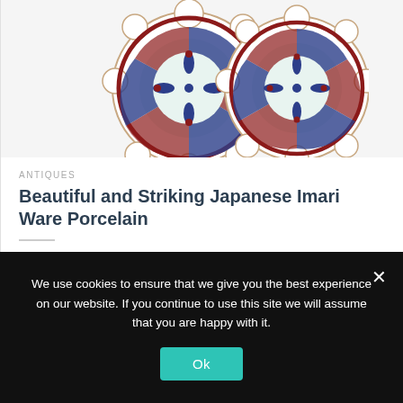[Figure (photo): Two decorative Japanese Imari ware porcelain plates with floral and geometric patterns in red, blue, and gold on white background]
ANTIQUES
Beautiful and Striking Japanese Imari Ware Porcelain
The rare Japanese Imari ware or Arita ware porcelain was created at the the Arita kilns of the Hizen provence of Japan.  The Arita...
We use cookies to ensure that we give you the best experience on our website. If you continue to use this site we will assume that you are happy with it.